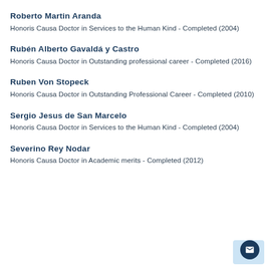Roberto Martin Aranda
Honoris Causa Doctor in Services to the Human Kind - Completed (2004)
Rubén Alberto Gavaldá y Castro
Honoris Causa Doctor in Outstanding professional career - Completed (2016)
Ruben Von Stopeck
Honoris Causa Doctor in Outstanding Professional Career - Completed (2010)
Sergio Jesus de San Marcelo
Honoris Causa Doctor in Services to the Human Kind - Completed (2004)
Severino Rey Nodar
Honoris Causa Doctor in Academic merits - Completed (2012)